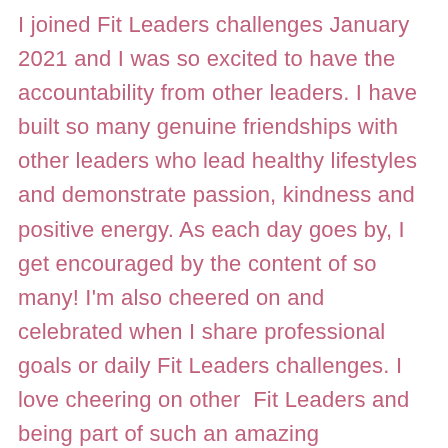I joined Fit Leaders challenges January 2021 and I was so excited to have the accountability from other leaders. I have built so many genuine friendships with other leaders who lead healthy lifestyles and demonstrate passion, kindness and positive energy. As each day goes by, I get encouraged by the content of so many! I'm also cheered on and celebrated when I share professional goals or daily Fit Leaders challenges. I love cheering on other  Fit Leaders and being part of such an amazing community! Joining has empowered me to share and connect with others on Twitter. I have met amazing people and we have become so tight because of the connections we have made through the Fit Leaders family. Some of us have recently been promoted to new positions and some of us are getting ready to apply for the next level position. The excitement and genuine happiness